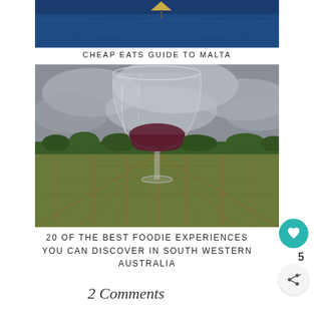[Figure (photo): Partial top of page showing a sailboat or water activity on dark blue ocean water, cropped at top]
CHEAP EATS GUIDE TO MALTA
[Figure (photo): A wine glass filled with red wine held up in front of rows of vineyard vines under a cloudy grey sky, with green grass fields and trees in the background]
20 OF THE BEST FOODIE EXPERIENCES YOU CAN DISCOVER IN SOUTH WESTERN AUSTRALIA
2 Comments